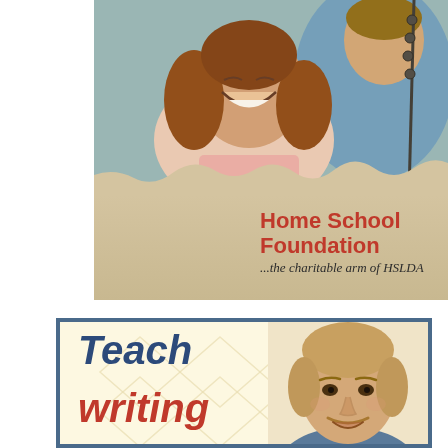[Figure (photo): Advertisement for Home School Foundation showing a laughing girl and adult man on a swing, with the Home School Foundation logo and tagline '...the charitable arm of HSLDA' on a tan/kraft paper background.]
[Figure (photo): Advertisement banner with cream/yellow background and diamond pattern, showing blue bold text 'Teach' and red bold text 'writing' on the left, and a headshot photo of a middle-aged man with blond hair and mustache on the right.]